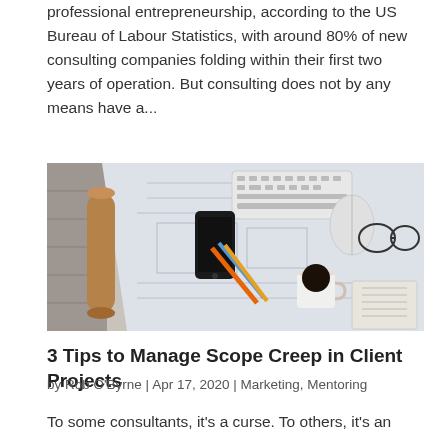professional entrepreneurship, according to the US Bureau of Labour Statistics, with around 80% of new consulting companies folding within their first two years of operation. But consulting does not by any means have a...
[Figure (photo): Overhead view of a desk workspace with blueprints/technical drawings, a rolled paper tube, smartphone, keyboard, pens/pencils, computer mouse, glasses, coffee cup, and a notebook.]
3 Tips to Manage Scope Creep in Client Projects
by Rob O'Byrne | Apr 17, 2020 | Marketing, Mentoring
To some consultants, it's a curse. To others, it's an